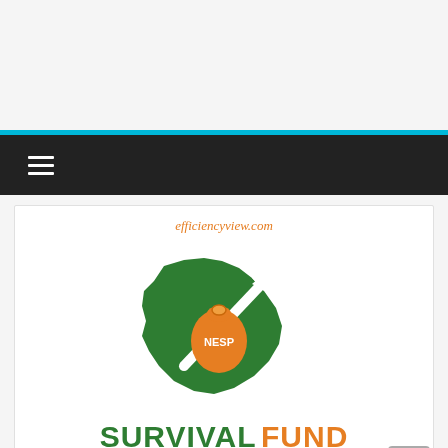[Figure (logo): efficiencyview.com watermark text above a green Nigeria map silhouette with a white diagonal arrow and an orange money bag labeled NESP in the center]
SURVIVAL FUND FOR ARTISAN
BUSINESS